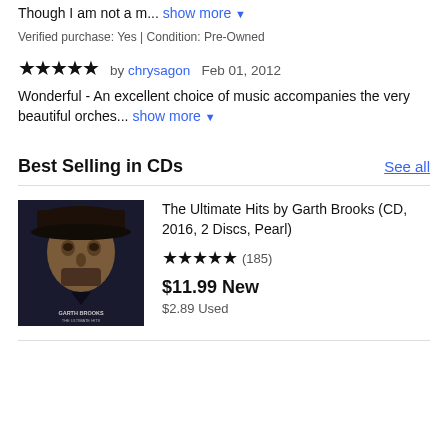Best of the lot - I have several recordings of this music. Though I am not a m... show more
Verified purchase: Yes | Condition: Pre-Owned
★★★★★ by chrysagon  Feb 01, 2012
Wonderful - An excellent choice of music accompanies the very beautiful orches... show more
Best Selling in CDs
See all
[Figure (photo): Album cover for The Ultimate Hits by Garth Brooks - shows man wearing hat with text 'GARTH BROOKS THE ULTIMATE HITS' at bottom]
The Ultimate Hits by Garth Brooks (CD, 2016, 2 Discs, Pearl)
★★★★★ (185)
$11.99 New
$2.89 Used